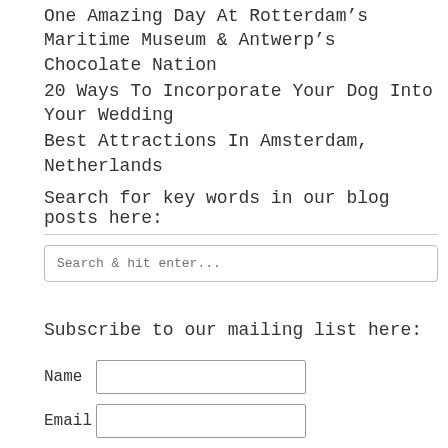One Amazing Day At Rotterdam’s Maritime Museum & Antwerp’s Chocolate Nation
20 Ways To Incorporate Your Dog Into Your Wedding
Best Attractions In Amsterdam, Netherlands
Search for key words in our blog posts here:
Search & hit enter...
Subscribe to our mailing list here:
Name
Email
Subscribe